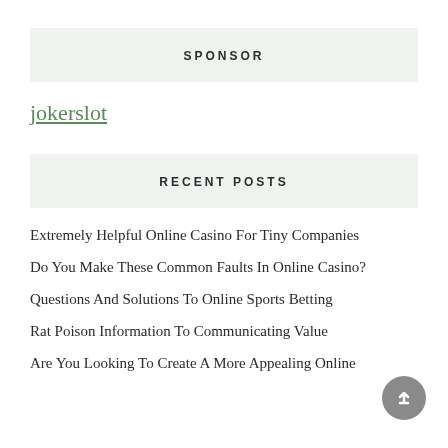SPONSOR
jokerslot
RECENT POSTS
Extremely Helpful Online Casino For Tiny Companies
Do You Make These Common Faults In Online Casino?
Questions And Solutions To Online Sports Betting
Rat Poison Information To Communicating Value
Are You Looking To Create A More Appealing Online